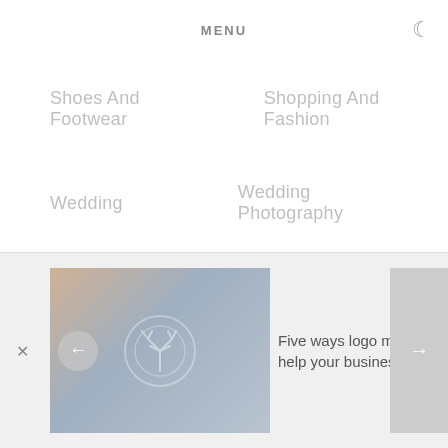MENU
Shoes And Footwear
Shopping And Fashion
Wedding
Wedding Photography
Women Fashion
[Figure (photo): Thumbnail image showing a decorative emblem/logo mat on a dark background with warm tones]
Five ways logo mats can help your business